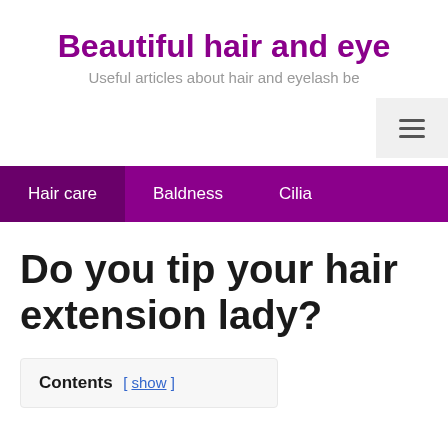Beautiful hair and eye
Useful articles about hair and eyelash be
Hair care   Baldness   Cilia
Do you tip your hair extension lady?
Contents [ show ]